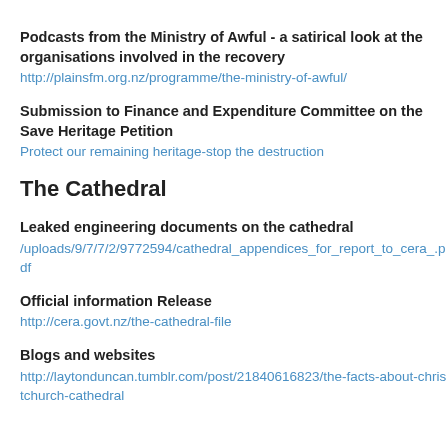Podcasts from the Ministry of Awful - a satirical look at the organisations involved in the recovery
http://plainsfm.org.nz/programme/the-ministry-of-awful/
Submission to Finance and Expenditure Committee on the Save Heritage Petition
Protect our remaining heritage-stop the destruction
The Cathedral
Leaked engineering documents on the cathedral
/uploads/9/7/7/2/9772594/cathedral_appendices_for_report_to_cera_.pdf
Official information Release
http://cera.govt.nz/the-cathedral-file
Blogs and websites
http://laytonduncan.tumblr.com/post/21840616823/the-facts-about-christchurch-cathedral